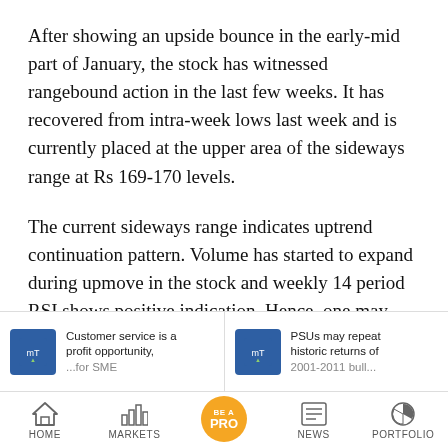After showing an upside bounce in the early-mid part of January, the stock has witnessed rangebound action in the last few weeks. It has recovered from intra-week lows last week and is currently placed at the upper area of the sideways range at Rs 169-170 levels.
The current sideways range indicates uptrend continuation pattern. Volume has started to expand during upmove in the stock and weekly 14 period RSI shows positive indication. Hence, one may expect further strengthening of upside
[Figure (other): Two related article thumbnails with blue square logos and article titles: 'Customer service is a profit opportunity, ...' and 'PSUs may repeat historic returns of 2001-2011 bull...']
[Figure (other): Bottom navigation bar with HOME, MARKETS, BE A PRO (orange circle), NEWS, PORTFOLIO icons]